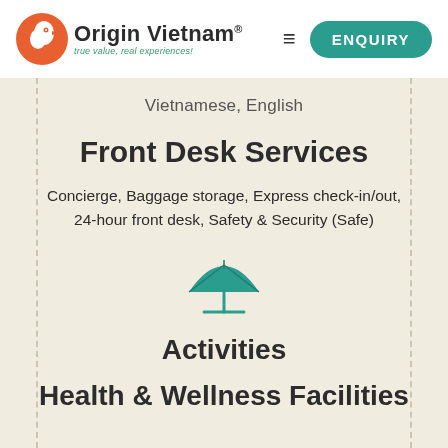[Figure (logo): Origin Vietnam logo with orange/red bird icon and green tagline 'true value, real experiences!']
ENQUIRY
Vietnamese, English
Front Desk Services
Concierge, Baggage storage, Express check-in/out, 24-hour front desk, Safety & Security (Safe)
[Figure (illustration): Teal beach umbrella icon]
Activities
Health & Wellness Facilities